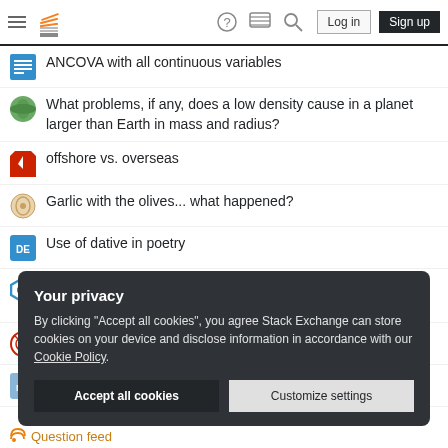Stack Exchange navigation bar with hamburger menu, logo, help, chat, search, Log in, Sign up
ANCOVA with all continuous variables
What problems, if any, does a low density cause in a planet larger than Earth in mass and radius?
offshore vs. overseas
Garlic with the olives... what happened?
Use of dative in poetry
Interviewer wanted to connect with me on LinkedIn the day after the interview, is this appropriate?
Is this considered graphic design?
How do weapons work?
Your privacy
By clicking "Accept all cookies", you agree Stack Exchange can store cookies on your device and disclose information in accordance with our Cookie Policy.
Accept all cookies   Customize settings
Question feed